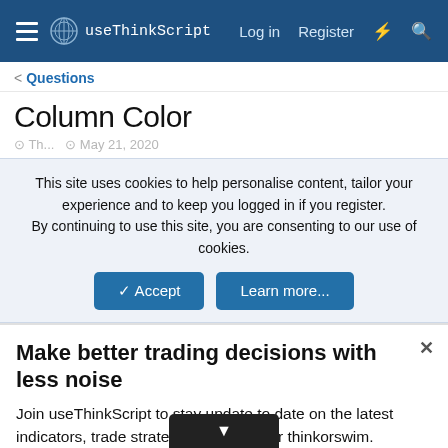useThinkScript  Log in  Register
Questions
Column Color
This site uses cookies to help personalise content, tailor your experience and to keep you logged in if you register. By continuing to use this site, you are consenting to our use of cookies.
Accept  Learn more...
Make better trading decisions with less noise
Join useThinkScript to stay update to date on the latest indicators, trade strategies, and tips for thinkorswim.
Sign up with email